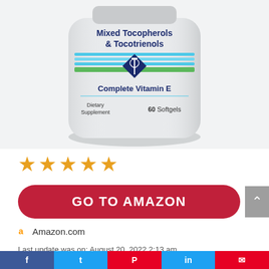[Figure (photo): Supplement bottle labeled 'Mixed Tocopherols & Tocotrienols – Complete Vitamin E, Dietary Supplement, 60 Softgels' with a medical caduceus logo, blue and green stripe design on a white bottle.]
[Figure (other): Five gold/orange star rating icons indicating a 5-star review.]
[Figure (other): Red rounded rectangle button reading 'GO TO AMAZON' in bold white uppercase text.]
Amazon.com
Last update was on: August 20, 2022 2:13 am